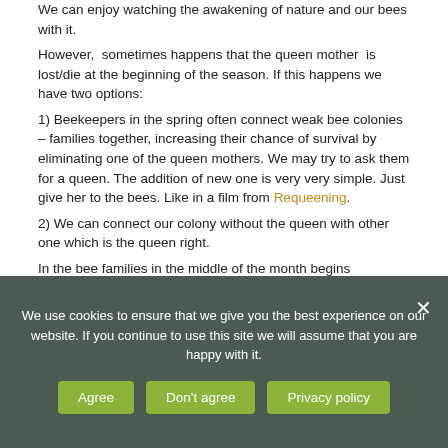We can enjoy watching the awakening of nature and our bees with it.
However,  sometimes happens that the queen mother  is lost/die at the beginning of the season. If this happens we have two options:
1) Beekeepers in the spring often connect weak bee colonies – families together, increasing their chance of survival by eliminating one of the queen mothers. We may try to ask them for a queen. The addition of new one is very very simple. Just give her to the bees. Like in a film from Requeening.
2) We can connect our colony without the queen with other one which is the queen right.
In the bee families in the middle of the month begins
We use cookies to ensure that we give you the best experience on our website. If you continue to use this site we will assume that you are happy with it.